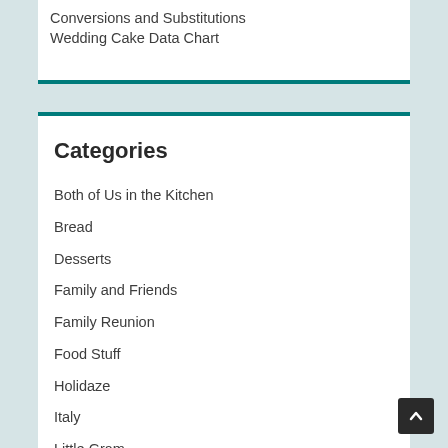Conversions and Substitutions
Wedding Cake Data Chart
Categories
Both of Us in the Kitchen
Bread
Desserts
Family and Friends
Family Reunion
Food Stuff
Holidaze
Italy
Little Gram